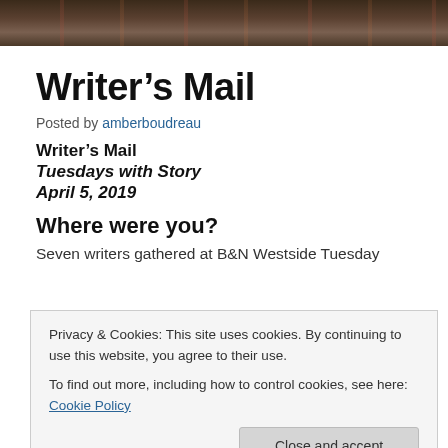[Figure (photo): Dark banner image with blurred bokeh lights in orange and red tones, suggesting a nighttime street scene.]
Writer's Mail
Posted by amberboudreau
Writer's Mail
Tuesdays with Story
April 5, 2019
Where were you?
Seven writers gathered at B&N Westside Tuesday
Privacy & Cookies: This site uses cookies. By continuing to use this website, you agree to their use.
To find out more, including how to control cookies, see here: Cookie Policy
Close and accept
Chris Zoern (chapter 1, Apostate) . . .